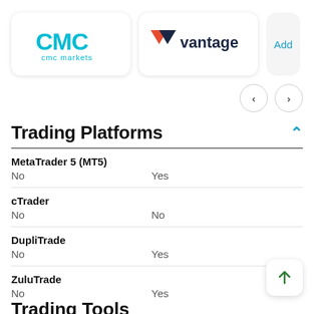[Figure (logo): CMC Markets logo — cyan 'CMC' text above 'cmc markets' in cyan]
[Figure (logo): Vantage logo — dark navy V-triangle icon followed by 'vantage' text]
[Figure (other): Partially visible card with 'Add' text in teal]
Trading Platforms
| Feature | CMC Markets | Vantage |
| --- | --- | --- |
| MetaTrader 5 (MT5) | No | Yes |
| cTrader | No | No |
| DupliTrade | No | Yes |
| ZuluTrade | No | Yes |
Trading Tools